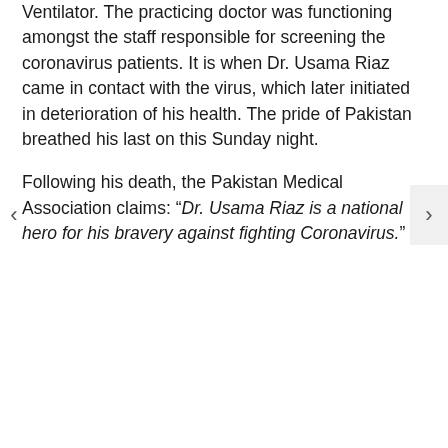Ventilator. The practicing doctor was functioning amongst the staff responsible for screening the coronavirus patients. It is when Dr. Usama Riaz came in contact with the virus, which later initiated in deterioration of his health. The pride of Pakistan breathed his last on this Sunday night.
Following his death, the Pakistan Medical Association claims: “Dr. Usama Riaz is a national hero for his bravery against fighting Coronavirus.”